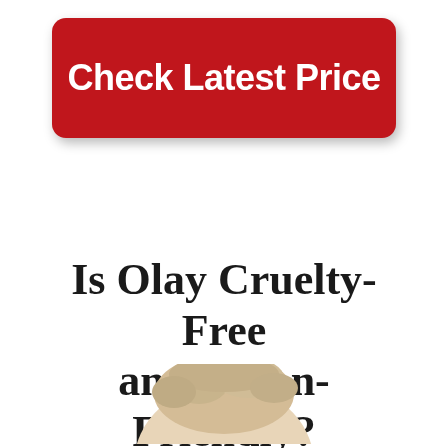[Figure (other): Red rounded rectangle button with white bold text reading 'Check Latest Price']
Is Olay Cruelty-Free and Vegan-Friendly?
ThoseGraces.com
[Figure (photo): Top of a person's head with blonde/light hair visible at the bottom of the page]